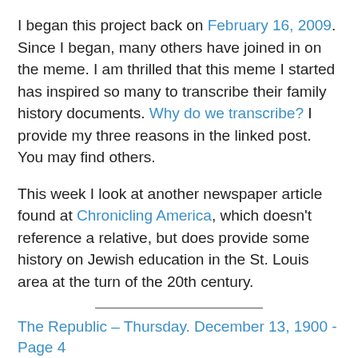I began this project back on February 16, 2009.  Since I began, many others have joined in on the meme. I am thrilled that this meme I started has inspired so many to transcribe their family history documents. Why do we transcribe? I provide my three reasons in the linked post. You may find others.
This week I look at another newspaper article found at Chronicling America, which doesn't reference a relative, but does provide some history on Jewish education in the St. Louis area at the turn of the 20th century.
The Republic – Thursday. December 13, 1900 - Page 4
NEW INSTITUTE FOR HEBREW CHILDREN.
Structure for Education of Youth to Be Erected at Ninth and Carr Streets.
WILL COST AT LEAST $25,000.
United Jewish Educational and Charitable Association Will Direct It - Manual Training Will Be a Feature.
The Hebrew children of that quarter of the city generally known as Little Jerusalem are to have an educational